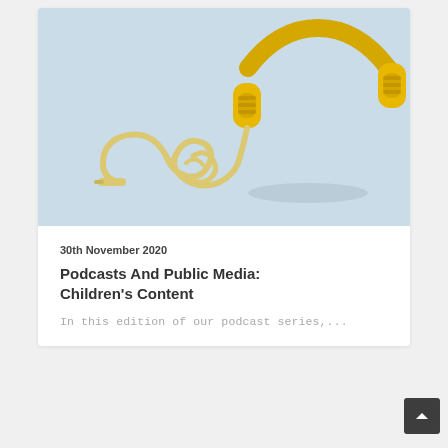[Figure (photo): Yellow headphones with coiled yellow cable on a light blue background]
30th November 2020
Podcasts And Public Media: Children's Content
In this edition of our podcast series,...